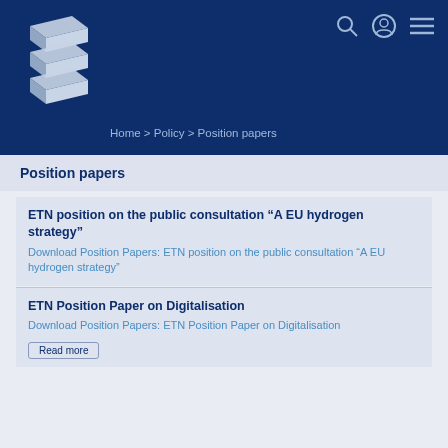[Figure (logo): ETN Global logo with stacked white geometric shapes and text 'ETN Global' on dark blue background]
Home > Policy > Position papers
Position papers
ETN position on the public consultation “A EU hydrogen strategy”
Download Position Papers: ETN position on the public consultation “A EU hydrogen strategy”
ETN Position Paper on Digitalisation
Download Position Papers: ETN Position Paper on Digitalisation
Read more